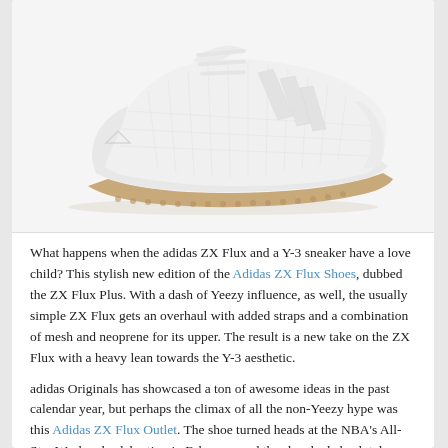[Figure (photo): White Adidas ZX Flux sneaker with gum rubber sole, side profile view on white background]
What happens when the adidas ZX Flux and a Y-3 sneaker have a love child? This stylish new edition of the Adidas ZX Flux Shoes, dubbed the ZX Flux Plus. With a dash of Yeezy influence, as well, the usually simple ZX Flux gets an overhaul with added straps and a combination of mesh and neoprene for its upper. The result is a new take on the ZX Flux with a heavy lean towards the Y-3 aesthetic.
adidas Originals has showcased a ton of awesome ideas in the past calendar year, but perhaps the climax of all the non-Yeezy hype was this Adidas ZX Flux Outlet. The shoe turned heads at the NBA's All-Star Weekend celebration in February, and the shoe had absolutely nothing to do with basketball. The snakeskin-like upper championed a reflective 3M construction that was iridescent in nature, so when